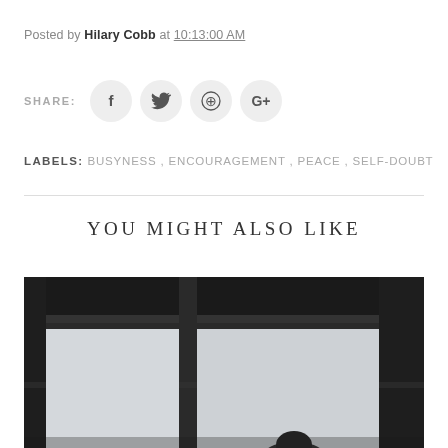Posted by Hilary Cobb at 10:13:00 AM
[Figure (infographic): Social share buttons row: SHARE: label followed by circular buttons for Facebook (f), Twitter (bird), Pinterest (p), Google+ (G+)]
LABELS: BUSYNESS, ENCOURAGEMENT, PEACE, SELF-DOUBT
YOU MIGHT ALSO LIKE
[Figure (photo): Black and white photo of a person viewed through a dark metal window frame/railing, with a grey overcast sky in the background]